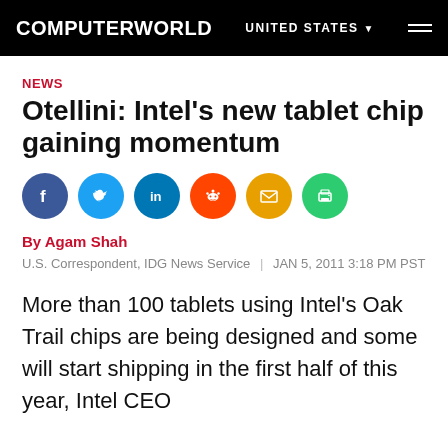COMPUTERWORLD  UNITED STATES
NEWS
Otellini: Intel's new tablet chip gaining momentum
[Figure (infographic): Social sharing icons: Facebook, Twitter, LinkedIn, Reddit, Email, Print]
By Agam Shah
U.S. Correspondent, IDG News Service  |  JAN 5, 2011 3:18 PM PST
More than 100 tablets using Intel's Oak Trail chips are being designed and some will start shipping in the first half of this year, Intel CEO